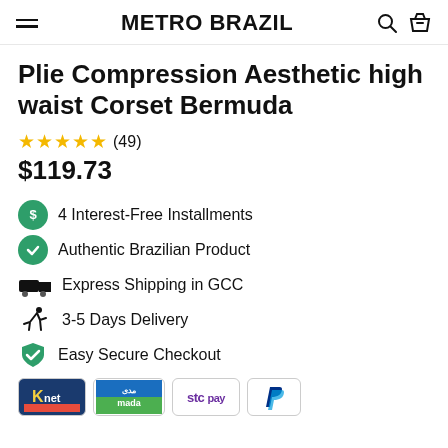METRO BRAZIL
Plie Compression Aesthetic high waist Corset Bermuda
★★★★★ (49)
$119.73
4 Interest-Free Installments
Authentic Brazilian Product
Express Shipping in GCC
3-5 Days Delivery
Easy Secure Checkout
[Figure (logo): Payment method logos: Knet, Mada, STC Pay, PayPal]